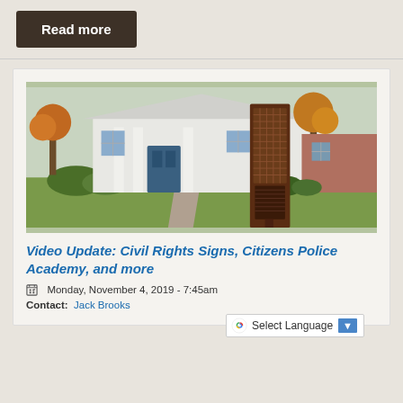Read more
[Figure (photo): Outdoor photo of a white colonial-style building with a blue door and columns, with autumn trees. In the foreground is a dark brown metal information sign/kiosk with text panels and a grid pattern.]
Video Update: Civil Rights Signs, Citizens Police Academy, and more
Monday, November 4, 2019 - 7:45am
Contact: Jack Brooks
Select Language